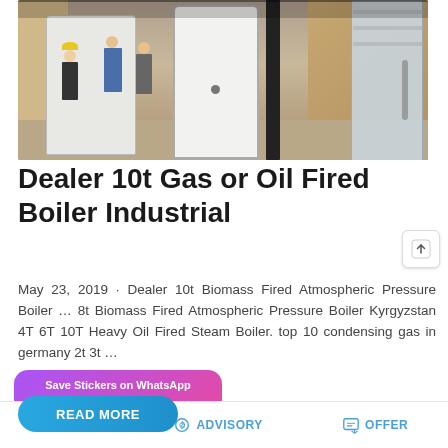[Figure (photo): Industrial boiler manufacturing facility showing workers in hard hats near large white vertical boilers on a factory floor]
Dealer 10t Gas or Oil Fired Boiler Industrial
May 23, 2019 · Dealer 10t Biomass Fired Atmospheric Pressure Boiler … 8t Biomass Fired Atmospheric Pressure Boiler Kyrgyzstan 4T 6T 10T Heavy Oil Fired Steam Boiler. top 10 condensing gas in germany 2t 3t …
[Figure (screenshot): READ MORE button (blue rounded) partially visible, overlapped by WhatsApp sticker save popup with gradient purple-pink background showing WhatsApp and emoji icons]
MAIL   ADVISORY   OFFER